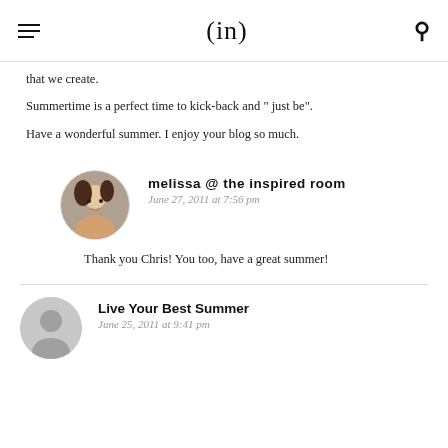(in)
that we create.
Summertime is a perfect time to kick-back and " just be".
Have a wonderful summer. I enjoy your blog so much.
melissa @ the inspired room
June 27, 2011 at 7:56 pm
Thank you Chris! You too, have a great summer!
Live Your Best Summer
June 25, 2011 at 9:41 pm